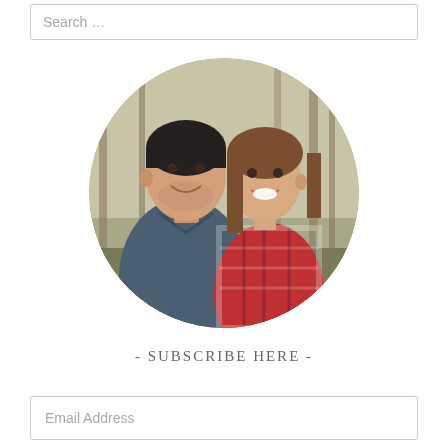Search …
[Figure (photo): Circular cropped photo of a smiling couple (man in dark blue denim shirt on the left, woman in red plaid shirt on the right) posing outdoors among bare trees]
- SUBSCRIBE HERE -
Email Address